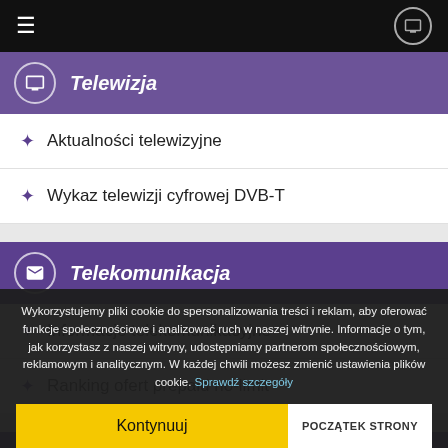≡  [TV icon]
Telewizja
Aktualności telewizyjne
Wykaz telewizji cyfrowej DVB-T
Telekomunikacja
Informacje telekomunikacyjne
Ranking ofert prepaid no-limit
Aktualnie grane
Wykorzystujemy pliki cookie do spersonalizowania treści i reklam, aby oferować funkcje społecznościowe i analizować ruch w naszej witrynie. Informacje o tym, jak korzystasz z naszej witryny, udostępniamy partnerom społecznościowym, reklamowym i analitycznym. W każdej chwili możesz zmienić ustawienia plików cookie. Sprawdź szczegóły
Kontynuuj | POCZĄTEK STRONY